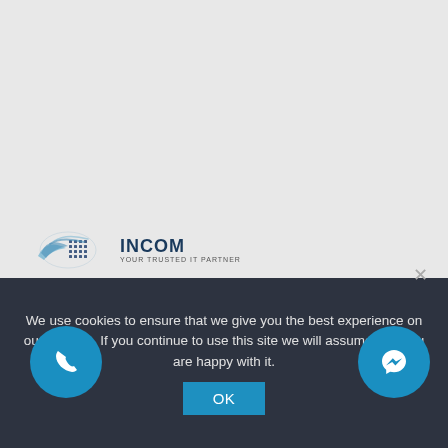[Figure (logo): InCom logo with globe/network graphic and text 'INCOM Your Trusted IT Partner']
Sasho Jovanovski
InCom's Managing Partner
We use cookies to ensure that we give you the best experience on our website. If you continue to use this site we will assume that you are happy with it.